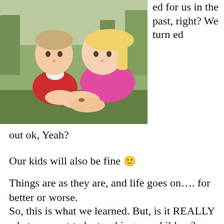[Figure (photo): Two young children outdoors examining something in their hands. A boy in a red and white shirt and a girl with blonde hair in a pink shirt are leaning over their hands together in a natural setting with trees in the background.]
ed for us in the past, right? We turned
out ok, Yeah?
Our kids will also be fine 🙂
Things are as they are, and life goes on…. for better or worse.
So, this is what we learned. But, is it REALLY what we want to be teaching our children?